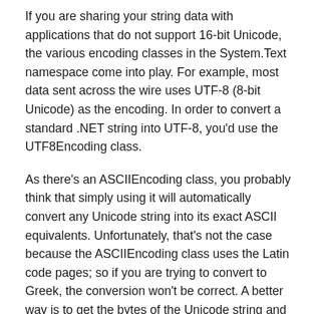If you are sharing your string data with applications that do not support 16-bit Unicode, the various encoding classes in the System.Text namespace come into play. For example, most data sent across the wire uses UTF-8 (8-bit Unicode) as the encoding. In order to convert a standard .NET string into UTF-8, you'd use the UTF8Encoding class.
As there's an ASCIIEncoding class, you probably think that simply using it will automatically convert any Unicode string into its exact ASCII equivalents. Unfortunately, that's not the case because the ASCIIEncoding class uses the Latin code pages; so if you are trying to convert to Greek, the conversion won't be correct. A better way is to get the bytes of the Unicode string and the encoding based on the code page for the ASCII conversion, then pass that encoding to the Encoding.Convert method. Figure 1 shows the proper way to convert from Greek ASCII to Unicode and back.